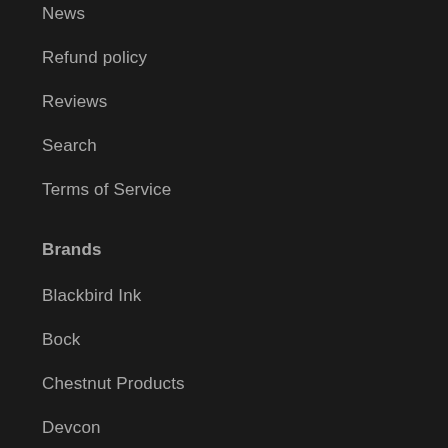News
Refund policy
Reviews
Search
Terms of Service
Brands
Blackbird Ink
Bock
Chestnut Products
Devcon